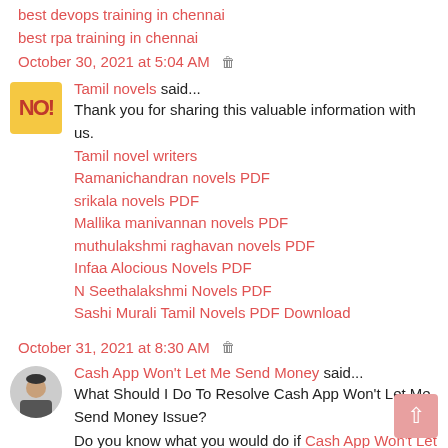best devops training in chennai
best rpa training in chennai
October 30, 2021 at 5:04 AM 🗑
Tamil novels said... Thank you for sharing this valuable information with us.
Tamil novel writers
Ramanichandran novels PDF
srikala novels PDF
Mallika manivannan novels PDF
muthulakshmi raghavan novels PDF
Infaa Alocious Novels PDF
N Seethalakshmi Novels PDF
Sashi Murali Tamil Novels PDF Download
October 31, 2021 at 8:30 AM 🗑
Cash App Won't Let Me Send Money said... What Should I Do To Resolve Cash App Won't Let Me Send Money Issue? Do you know what you would do if Cash App Won't Let Me Send Money? In such a case, you